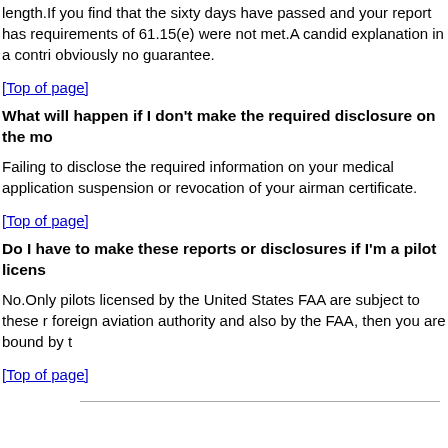length.If you find that the sixty days have passed and your report has requirements of 61.15(e) were not met.A candid explanation in a contribution obviously no guarantee.
[Top of page]
What will happen if I don't make the required disclosure on the me
Failing to disclose the required information on your medical application suspension or revocation of your airman certificate.
[Top of page]
Do I have to make these reports or disclosures if I'm a pilot licens
No.Only pilots licensed by the United States FAA are subject to these r foreign aviation authority and also by the FAA, then you are bound by t
[Top of page]